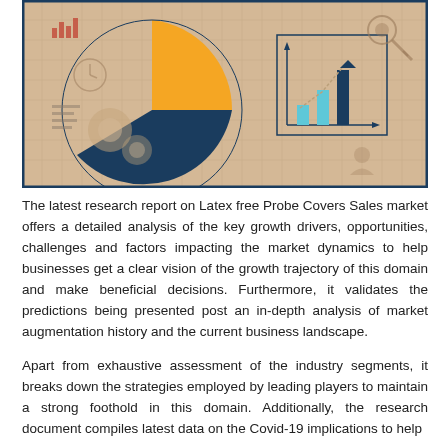[Figure (illustration): A decorative infographic banner image showing business/market research icons: a pie chart (orange and navy), a bar chart with upward trend arrow, gears, a clock, a pencil, a key, and a person icon on a beige grid background, framed with a dark navy border.]
The latest research report on Latex free Probe Covers Sales market offers a detailed analysis of the key growth drivers, opportunities, challenges and factors impacting the market dynamics to help businesses get a clear vision of the growth trajectory of this domain and make beneficial decisions. Furthermore, it validates the predictions being presented post an in-depth analysis of market augmentation history and the current business landscape.
Apart from exhaustive assessment of the industry segments, it breaks down the strategies employed by leading players to maintain a strong foothold in this domain. Additionally, the research document compiles latest data on the Covid-19 implications to help